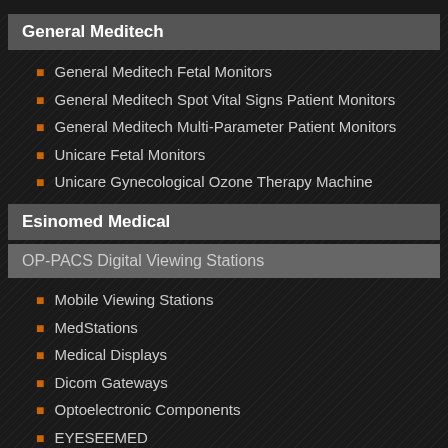General Meditech
General Meditech Fetal Monitors
General Meditech Spot Vital Signs Patient Monitors
General Meditech Multi-Parameter Patient Monitors
Unicare Fetal Monitors
Unicare Gynecological Ozone Therapy Machine
Esinomed Medical
OP-PACS Digital Viewing Stations
Mobile Viewing Stations
MedStations
Medical Displays
Dicom Gateways
Optoelectronic Components
EYESEEMED
Hoffrichter Medical